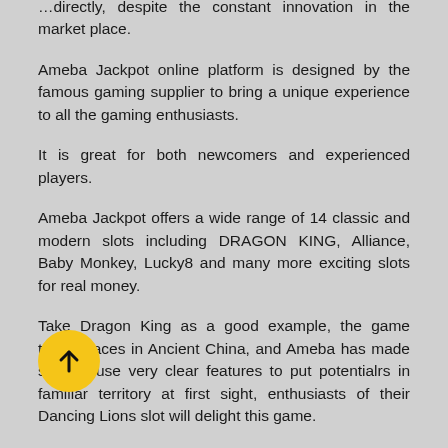…directly, despite the constant innovation in the market place.
Ameba Jackpot online platform is designed by the famous gaming supplier to bring a unique experience to all the gaming enthusiasts.
It is great for both newcomers and experienced players.
Ameba Jackpot offers a wide range of 14 classic and modern slots including DRAGON KING, Alliance, Baby Monkey, Lucky8 and many more exciting slots for real money.
Take Dragon King as a good example, the game takes places in Ancient China, and Ameba has made sure to use very clear features to put potential players in familiar territory at first sight, enthusiasts of their Dancing Lions slot will delight this game.
The wonderful background of the game shows an outstanding Chinese mountains view at gloaming…